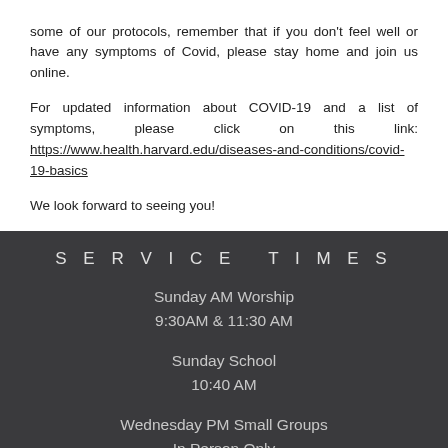some of our protocols, remember that if you don't feel well or have any symptoms of Covid, please stay home and join us online.
For updated information about COVID-19 and a list of symptoms, please click on this link: https://www.health.harvard.edu/diseases-and-conditions/covid-19-basics
We look forward to seeing you!
SERVICE TIMES
Sunday AM Worship
9:30AM & 11:30 AM
Sunday School
10:40 AM
Wednesday PM Small Groups
In Person Only
7PM
Adults, Young Adults